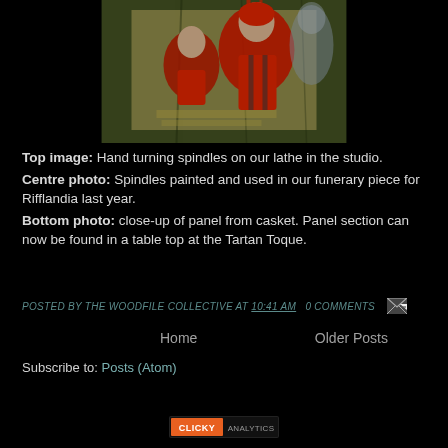[Figure (illustration): Artwork showing two figures in red and olive tones, appearing to be a stylized illustration of woodworkers or craftspeople at a lathe, with a green and beige background]
Top image: Hand turning spindles on our lathe in the studio. Centre photo: Spindles painted and used in our funerary piece for Rifflandia last year. Bottom photo: close-up of panel from casket. Panel section can now be found in a table top at the Tartan Toque.
POSTED BY THE WOODFILE COLLECTIVE AT 10:41 AM   0 COMMENTS
Home    Older Posts
Subscribe to: Posts (Atom)
[Figure (logo): Clicky Analytics badge/logo at the bottom of the page]